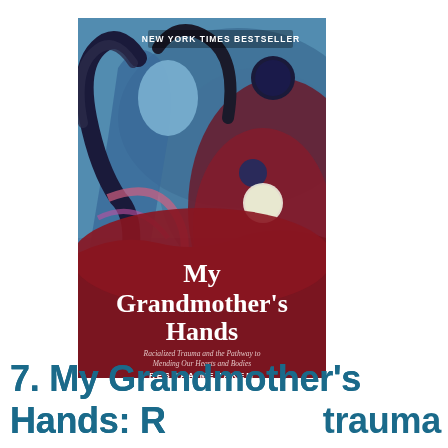[Figure (illustration): Book cover of 'My Grandmother's Hands: Racialized Trauma and the Pathway to Mending Our Hearts and Bodies' by Resmaa Menakem. The cover features an artistic painting of a woman with flowing hair against a swirling blue, purple, and dark red background with moon-like orbs. A dark red shape covers the lower portion where the title text appears in white serif font. 'NEW YORK TIMES BESTSELLER' appears at the top.]
7. My Grandmother's Hands: Racialized trauma and the pathway to mending our hearts and bodies